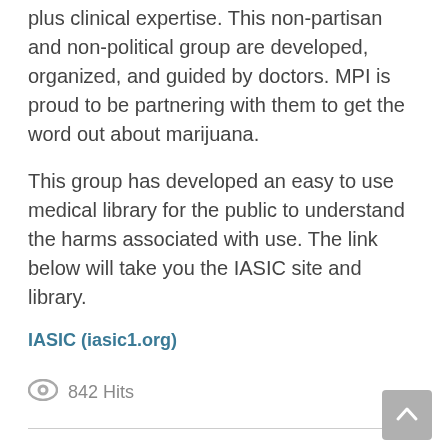plus clinical expertise. This non-partisan and non-political group are developed, organized, and guided by doctors. MPI is proud to be partnering with them to get the word out about marijuana.
This group has developed an easy to use medical library for the public to understand the harms associated with use. The link below will take you the IASIC site and library.
IASIC (iasic1.org)
842 Hits
NEW Podcast from Dr.